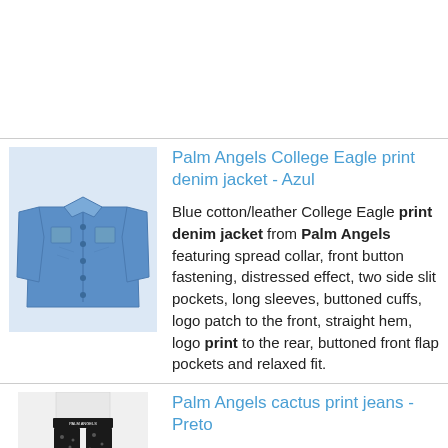[Figure (photo): Palm Angels College Eagle print denim jacket product photo]
Palm Angels College Eagle print denim jacket - Azul
Blue cotton/leather College Eagle print denim jacket from Palm Angels featuring spread collar, front button fastening, distressed effect, two side slit pockets, long sleeves, buttoned cuffs, logo patch to the front, straight hem, logo print to the rear, buttoned front flap pockets and relaxed fit.
[Figure (photo): Palm Angels cactus print jeans product photo]
Palm Angels cactus print jeans - Preto